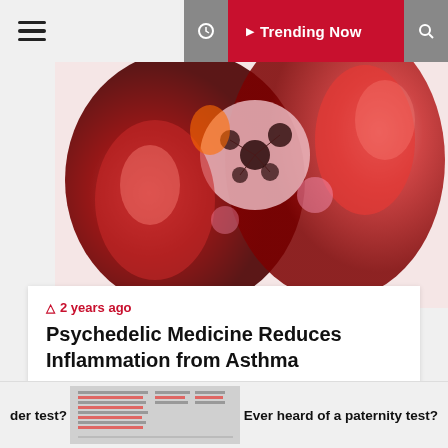≡  Trending Now
[Figure (photo): Medical illustration showing human heart and lungs anatomy in red tones with network patterns]
🕐 2 years ago
Psychedelic Medicine Reduces Inflammation from Asthma
[Figure (photo): Gray placeholder image block]
der test?   Ever heard of a paternity test?